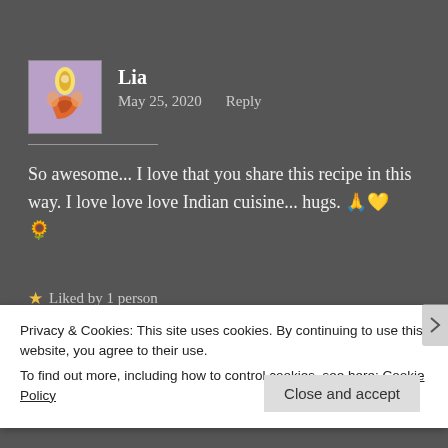Lia
May 25, 2020   Reply
So awesome... I love that you share this recipe in this way. I love love love Indian cuisine... hugs. 🙏💛🌻
★ Liked by 1 person
Privacy & Cookies: This site uses cookies. By continuing to use this website, you agree to their use.
To find out more, including how to control cookies, see here: Cookie Policy
Close and accept